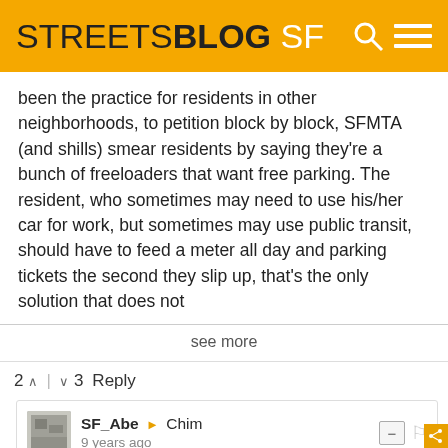STREETSBLOG SF
been the practice for residents in other neighborhoods, to petition block by block, SFMTA (and shills) smear residents by saying they're a bunch of freeloaders that want free parking. The resident, who sometimes may need to use his/her car for work, but sometimes may use public transit, should have to feed a meter all day and parking tickets the second they slip up, that's the only solution that does not
see more
2 ∧ | ∨ 3   Reply
SF_Abe → Chim
9 years ago
It looks to me like RPP is generally supported in these comments, I'm not sure who you're arguing with.

Secondly: in response to "I can't help but get the feeling you feel that residents in the Mission or other dense neighborhoods don't have a right to own a car." THEY DON'T. Nobody has a right to own a car. Not one person.